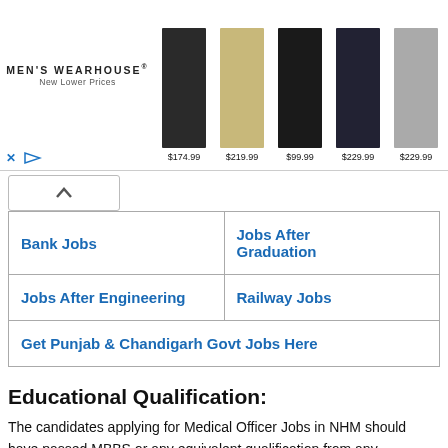[Figure (screenshot): Men's Wearhouse advertisement banner showing logo and 5 suits with prices: $174.99, $219.99, $99.99, $229.99, $229.99]
| Bank Jobs | Jobs After Graduation |
| Jobs After Engineering | Railway Jobs |
| Get Punjab & Chandigarh Govt Jobs Here |  |
Educational Qualification:
The candidates applying for Medical Officer Jobs in NHM should have passed MBBS or any equivalent qualification from any recognized institution recognized by the Medical Council of India (MCI), registered with Punjab Medical Council/Medical Council of India.